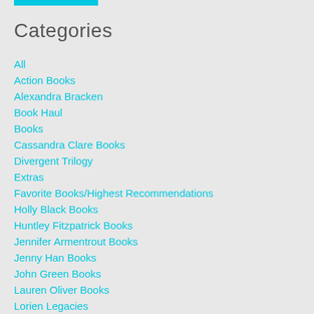Categories
All
Action Books
Alexandra Bracken
Book Haul
Books
Cassandra Clare Books
Divergent Trilogy
Extras
Favorite Books/Highest Recommendations
Holly Black Books
Huntley Fitzpatrick Books
Jennifer Armentrout Books
Jenny Han Books
John Green Books
Lauren Oliver Books
Lorien Legacies
Marissa Books